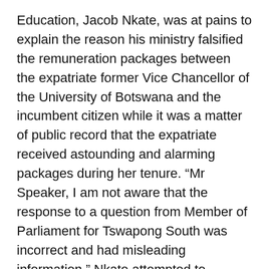Education, Jacob Nkate, was at pains to explain the reason his ministry falsified the remuneration packages between the expatriate former Vice Chancellor of the University of Botswana and the incumbent citizen while it was a matter of public record that the expatriate received astounding and alarming packages during her tenure. “Mr Speaker, I am not aware that the response to a question from Member of Parliament for Tswapong South was incorrect and had misleading information,” Nkate attempted to exonerate himself and the entire ministry.
He added, “Mr Speaker, I reiterate that I have not misled parliament in this matter. I would never knowingly mislead parliament in any matter even if it were not in the public domain.”
Nkate promised parliament that he would investigate the